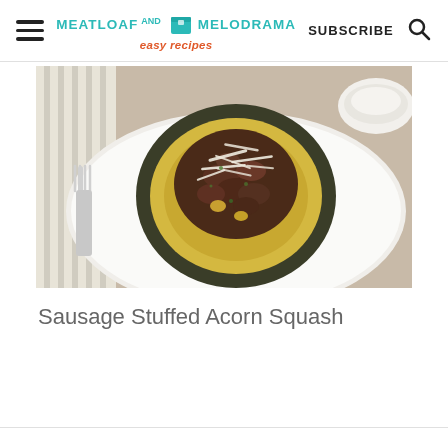MEATLOAF AND MELODRAMA easy recipes | SUBSCRIBE
[Figure (photo): A sausage stuffed acorn squash half on a white plate, topped with shredded cheese and herbs, with a fork visible on the left side and a small white bowl in the background]
Sausage Stuffed Acorn Squash